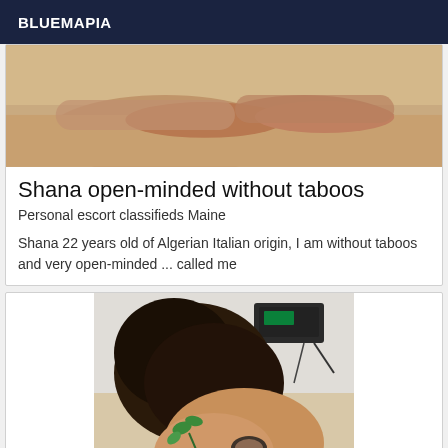BLUEMAPIA
[Figure (photo): Photo showing feet/legs on a bed, top portion of a listing card image]
Shana open-minded without taboos
Personal escort classifieds Maine
Shana 22 years old of Algerian Italian origin, I am without taboos and very open-minded ... called me
[Figure (photo): Photo showing a person with dark hair holding a small plant/herb, with a device visible in the background]